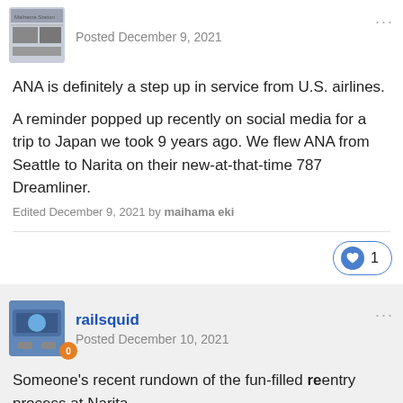Posted December 9, 2021
ANA is definitely a step up in service from U.S. airlines.
A reminder popped up recently on social media for a trip to Japan we took 9 years ago. We flew ANA from Seattle to Narita on their new-at-that-time 787 Dreamliner.
Edited December 9, 2021 by maihama eki
1
railsquid
Posted December 10, 2021
Someone's recent rundown of the fun-filled reentry process at Narita.